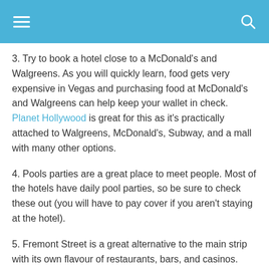≡  🔍
3. Try to book a hotel close to a McDonald's and Walgreens. As you will quickly learn, food gets very expensive in Vegas and purchasing food at McDonald's and Walgreens can help keep your wallet in check. Planet Hollywood is great for this as it's practically attached to Walgreens, McDonald's, Subway, and a mall with many other options.
4. Pools parties are a great place to meet people. Most of the hotels have daily pool parties, so be sure to check these out (you will have to pay cover if you aren't staying at the hotel).
5. Fremont Street is a great alternative to the main strip with its own flavour of restaurants, bars, and casinos.